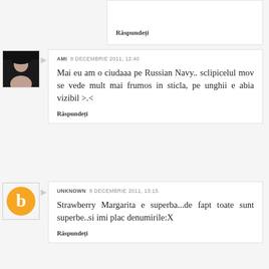Răspundeți
AMI 8 DECEMBRIE 2011, 12:40
Mai eu am o ciudaaa pe Russian Navy.. sclipicelul mov se vede mult mai frumos in sticla, pe unghii e abia vizibil >.<
Răspundeți
UNKNOWN 8 DECEMBRIE 2011, 13:15
Strawberry Margarita e superba...de fapt toate sunt superbe..si imi plac denumirile:X
Răspundeți